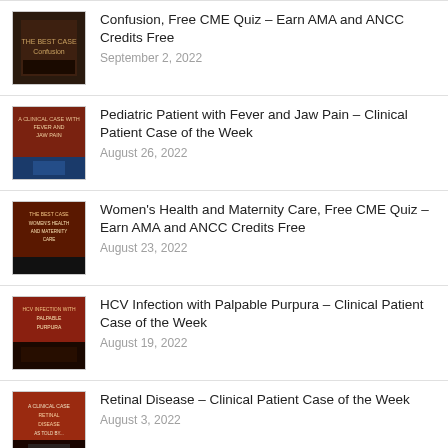Confusion, Free CME Quiz – Earn AMA and ANCC Credits Free
September 2, 2022
Pediatric Patient with Fever and Jaw Pain – Clinical Patient Case of the Week
August 26, 2022
Women's Health and Maternity Care, Free CME Quiz – Earn AMA and ANCC Credits Free
August 23, 2022
HCV Infection with Palpable Purpura – Clinical Patient Case of the Week
August 19, 2022
Retinal Disease – Clinical Patient Case of the Week
August 3, 2022